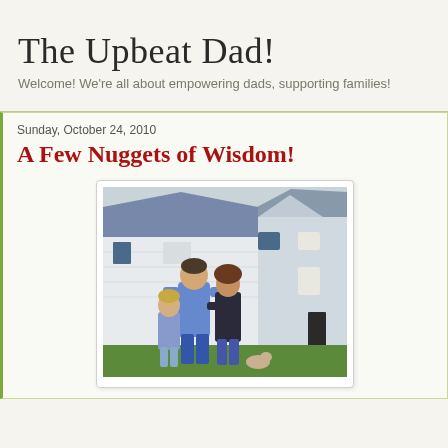The Upbeat Dad!
Welcome! We're all about empowering dads, supporting families!
Sunday, October 24, 2010
A Few Nuggets of Wisdom!
[Figure (photo): A family of three — a father, mother, and young child — standing in front of a two-story suburban house with blue siding and shutters. The father wears a blue shirt, the mother a dark top, and the child is in a plaid outfit. The photo has a white border/frame with slight rounded corners.]